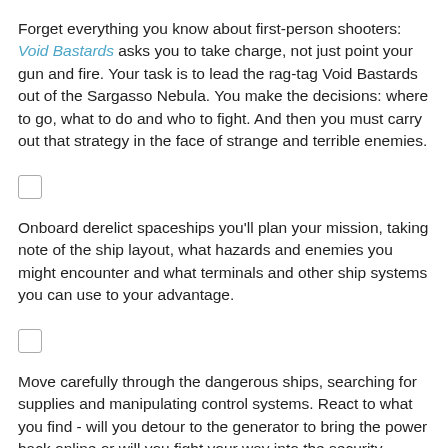Forget everything you know about first-person shooters: Void Bastards asks you to take charge, not just point your gun and fire. Your task is to lead the rag-tag Void Bastards out of the Sargasso Nebula. You make the decisions: where to go, what to do and who to fight. And then you must carry out that strategy in the face of strange and terrible enemies.
[Figure (other): Small checkbox/image placeholder]
Onboard derelict spaceships you'll plan your mission, taking note of the ship layout, what hazards and enemies you might encounter and what terminals and other ship systems you can use to your advantage.
[Figure (other): Small checkbox/image placeholder]
Move carefully through the dangerous ships, searching for supplies and manipulating control systems. React to what you find - will you detour to the generator to bring the power back online or will you fight your way into the security